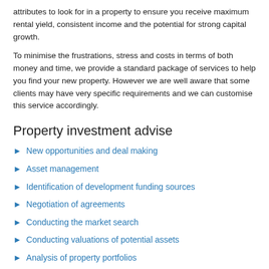attributes to look for in a property to ensure you receive maximum rental yield, consistent income and the potential for strong capital growth.
To minimise the frustrations, stress and costs in terms of both money and time, we provide a standard package of services to help you find your new property. However we are well aware that some clients may have very specific requirements and we can customise this service accordingly.
Property investment advise
New opportunities and deal making
Asset management
Identification of development funding sources
Negotiation of agreements
Conducting the market search
Conducting valuations of potential assets
Analysis of property portfolios